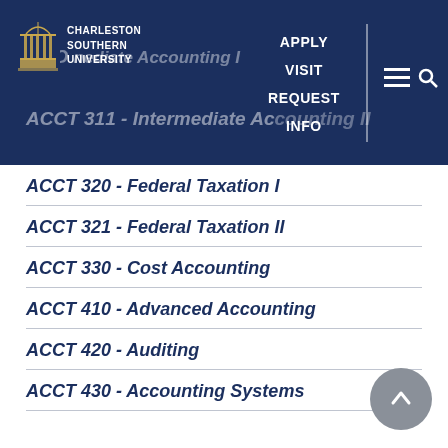[Figure (screenshot): Charleston Southern University navigation header with logo, APPLY, VISIT, REQUEST INFO links, hamburger menu and search icon on dark navy background]
ACCT 320 - Federal Taxation I
ACCT 321 - Federal Taxation II
ACCT 330 - Cost Accounting
ACCT 410 - Advanced Accounting
ACCT 420 - Auditing
ACCT 430 - Accounting Systems